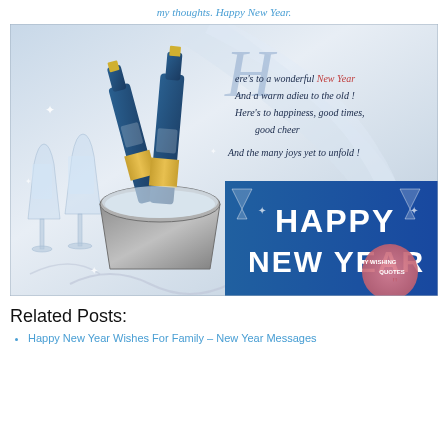my thoughts. Happy New Year.
[Figure (illustration): Happy New Year greeting card featuring champagne bottles in an ice bucket with glasses on the left, and on the right a poem reading: Here's to a wonderful New Year And a warm adieu to the old! Here's to happiness, good times, good cheer And the many joys yet to unfold! with HAPPY NEW YEAR! text on a blue banner at the bottom, and a 'My Wishing Quotes' watermark badge.]
Related Posts:
Happy New Year Wishes For Family – New Year Messages